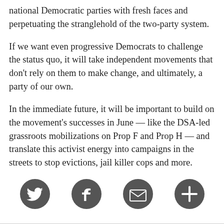national Democratic parties with fresh faces and perpetuating the stranglehold of the two-party system.
If we want even progressive Democrats to challenge the status quo, it will take independent movements that don't rely on them to make change, and ultimately, a party of our own.
In the immediate future, it will be important to build on the movement's successes in June — like the DSA-led grassroots mobilizations on Prop F and Prop H — and translate this activist energy into campaigns in the streets to stop evictions, jail killer cops and more.
[Figure (infographic): Four circular social media / action icons in dark gray: Twitter bird, Facebook f, envelope/email, and plus/add symbol.]